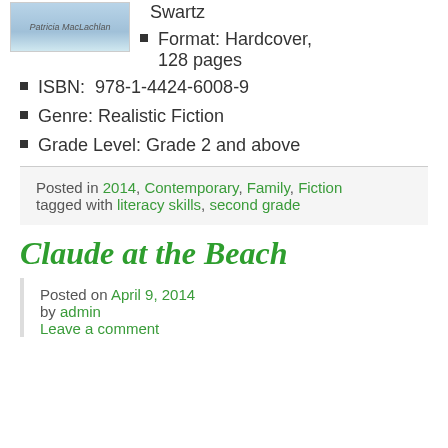[Figure (illustration): Book cover image for a Patricia MacLachlan book, shown in top-left corner]
Format: Hardcover, 128 pages
ISBN: 978-1-4424-6008-9
Genre: Realistic Fiction
Grade Level: Grade 2 and above
Posted in 2014, Contemporary, Family, Fiction tagged with literacy skills, second grade
Claude at the Beach
Posted on April 9, 2014 by admin Leave a comment